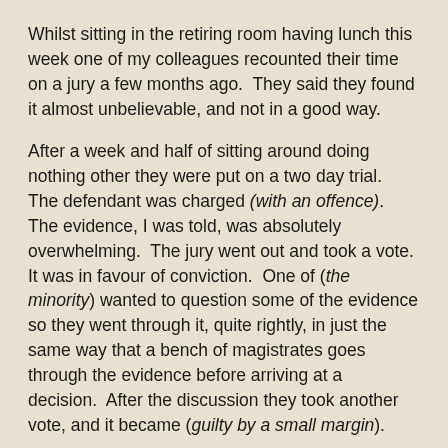Whilst sitting in the retiring room having lunch this week one of my colleagues recounted their time on a jury a few months ago.  They said they found it almost unbelievable, and not in a good way.
After a week and half of sitting around doing nothing other they were put on a two day trial.  The defendant was charged (with an offence).  The evidence, I was told, was absolutely overwhelming.  The jury went out and took a vote.  It was in favour of conviction.  One of (the minority) wanted to question some of the evidence so they went through it, quite rightly, in just the same way that a bench of magistrates goes through the evidence before arriving at a decision.  After the discussion they took another vote, and it became (guilty by a small margin).
Of those for not guilty (one was unwilling to convict for religious reasons and another for reasons of